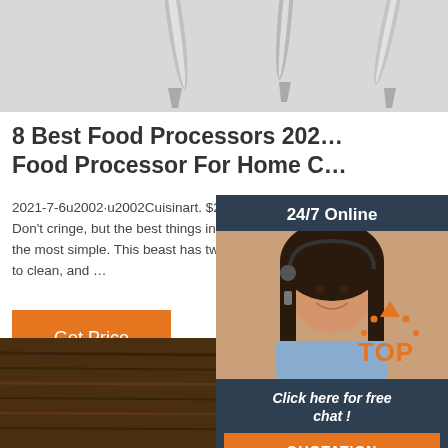[Figure (photo): Food processor metal blades on light gray background, top portion of page]
8 Best Food Processors 202… Food Processor For Home C…
2021-7-6u2002·u2002Cuisinart. $246 AT AM Don't cringe, but the best things in life are so the most simple. This beast has two buttons, to clean, and …
[Figure (photo): Customer service woman with headset, 24/7 Online chat widget sidebar]
24/7 Online
Click here for free chat !
QUOTATION
Get Price
[Figure (logo): Orange TOP badge with dotted arc above letters]
[Figure (photo): Dark wood surface with food processor blade visible, bottom of page]